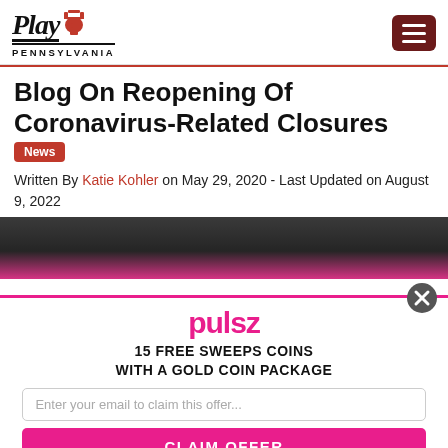Play Pennsylvania
Blog On Reopening Of Coronavirus-Related Closures
News
Written By Katie Kohler on May 29, 2020 - Last Updated on August 9, 2022
[Figure (photo): Dark background photo, partially visible, with a pink/magenta gradient strip at the bottom]
[Figure (infographic): Pulsz promotional popup overlay: '15 FREE SWEEPS COINS WITH A GOLD COIN PACKAGE' with email input and 'CLAIM OFFER' button]